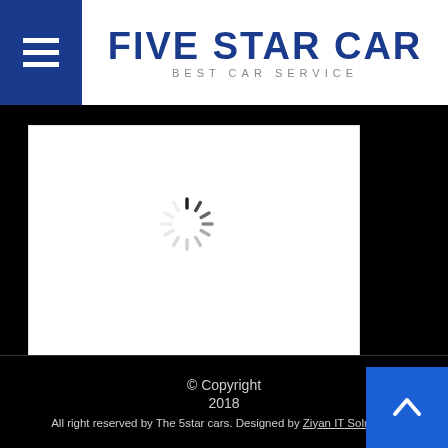FIVE STAR CAR — BEST CAR SERVICE
[Figure (screenshot): White content card with a loading spinner (circular dashed spinner) displayed on a black background. The card occupies the left portion of the dark main area.]
© Copyright 2018 All right reserved by The 5star cars. Designed by Ziyan IT Solutions.